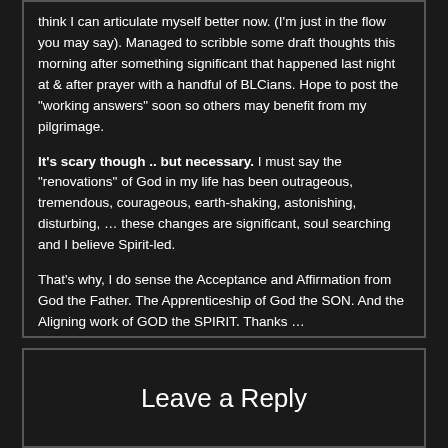think I can articulate myself better now. (I'm just in the flow you may say). Managed to scribble some draft thoughts this morning after something significant that happened last night at & after prayer with a handful of BLCians. Hope to post the "working answers" soon so others may benefit from my pilgrimage.

It's scary though .. but necessary. I must say the "renovations" of God in my life has been outrageous, tremendous, courageous, earth-shaking, astonishing, disturbing, … these changes are significant, soul searching and I believe Spirit-led.

That's why, I do sense the Acceptance and Affirmation from God the Father. The Apprenticeship of God the SON. And the Aligning work of GOD the SPIRIT. Thanks …
Leave a Reply